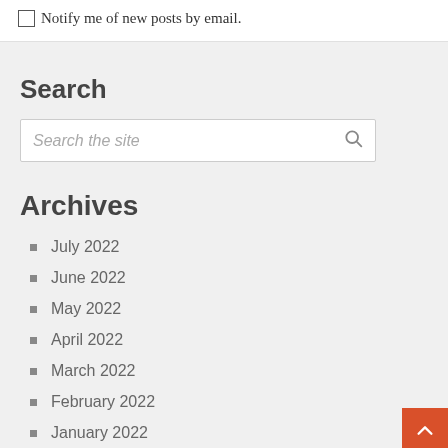Notify me of new posts by email.
Search
Search the site
Archives
July 2022
June 2022
May 2022
April 2022
March 2022
February 2022
January 2022
November 2021
October 2021